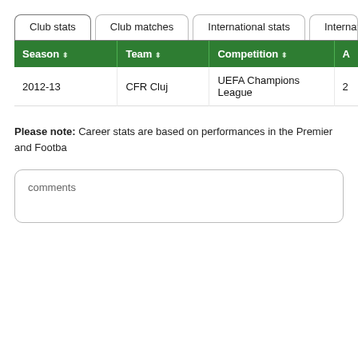Club stats | Club matches | International stats | International m
| Season | Team | Competition | A |
| --- | --- | --- | --- |
| 2012-13 | CFR Cluj | UEFA Champions League | 2 |
Please note: Career stats are based on performances in the Premier and Footba...
comments